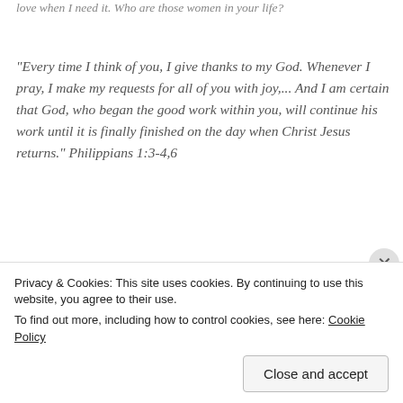love when I need it. Who are those women in your life?
“Every time I think of you, I give thanks to my God. Whenever I pray, I make my requests for all of you with joy,...  And I am certain that God, who began the good work within you, will continue his work until it is finally finished on the day when Christ Jesus returns.”  Philippians 1:3-4,6
Advertisements
[Figure (illustration): Abstract advertisement image with overlapping green and blue circles on dark blue background]
Privacy & Cookies: This site uses cookies. By continuing to use this website, you agree to their use.
To find out more, including how to control cookies, see here: Cookie Policy
Close and accept